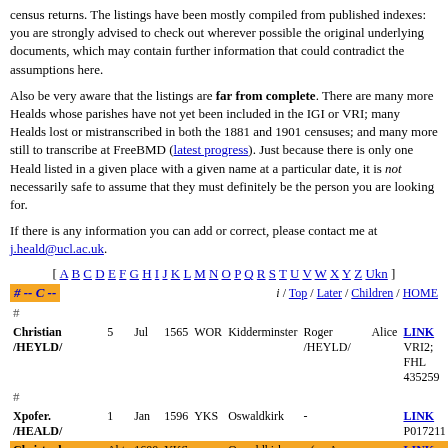census returns. The listings have been mostly compiled from published indexes: you are strongly advised to check out wherever possible the original underlying documents, which may contain further information that could contradict the assumptions here.
Also be very aware that the listings are far from complete. There are many more Healds whose parishes have not yet been included in the IGI or VRI; many Healds lost or mistranscribed in both the 1881 and 1901 censuses; and many more still to transcribe at FreeBMD (latest progress). Just because there is only one Heald listed in a given place with a given name at a particular date, it is not necessarily safe to assume that they must definitely be the person you are looking for.
If there is any information you can add or correct, please contact me at j.heald@ucl.ac.uk.
[ A B C D E F G H I J K L M N O P Q R S T U V W X Y Z Ukn ]
# -- C --   i / Top / Later / Children / HOME
| Name | Day | Month | Year | County | Place | Father | Mother | Link | Notes |
| --- | --- | --- | --- | --- | --- | --- | --- | --- | --- |
| Christian /HEYLD/ | 5 | Jul | 1565 | WOR | Kidderminster | Roger /HEYLD/ | Alice | LINK | VRI2; FHL 435259 |
| # |  |  |  |  |  |  |  |  |  |
| Xpofer. /HEALD/ | 1 | Jan | 1596 | YKS | Oswaldkirk | - |  | LINK | P017211 |
| Christopher /HYELDE/ | Abt. | 1600 | YKS | Oswaldkirk | - (m. Anne /HEWSON/) |  | LINK | LDS 446185 |
| Xpofer /HEALD/ | 28 | Oct | 1606 | YKS | York | Robt. /HEALD/ |  | LINK | P011101 |
| Xpofer. /HEILDE/ | 3 | Mar | 1609 | LIN | Kirton In Holland | Rich /HEILDE/ |  | LINK | P006071 |
| Christophe /HELD/ | 30 | Dec | 1620 | LAN | Liverpool | - |  | LINK | P005991 |